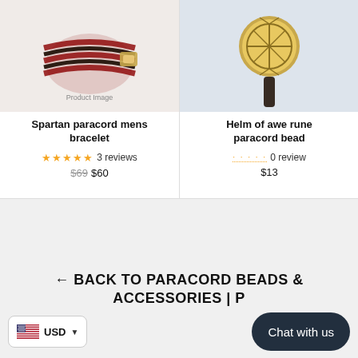[Figure (photo): Spartan paracord mens bracelet product photo - red and black braided paracord with gold metal clasp]
Spartan paracord mens bracelet
★★★★★ 3 reviews
$69 $60
[Figure (photo): Helm of awe rune paracord bead product photo - gold metal Norse rune bead on dark cord]
Helm of awe rune paracord bead
0 review
$13
← BACK TO PARACORD BEADS & ACCESSORIES | P
USD ▼
Chat with us